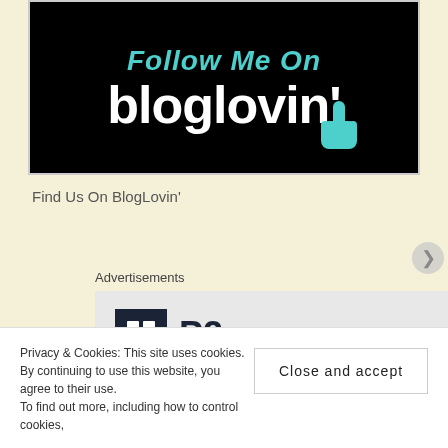[Figure (logo): Black banner with 'Follow Me On bloglovin'' text and teal hand pointer icon]
Find Us On BlogLovin'
Advertisements
[Figure (logo): P2 logo with dark square icon and P2 text]
Privacy & Cookies: This site uses cookies. By continuing to use this website, you agree to their use.
To find out more, including how to control cookies,
Close and accept